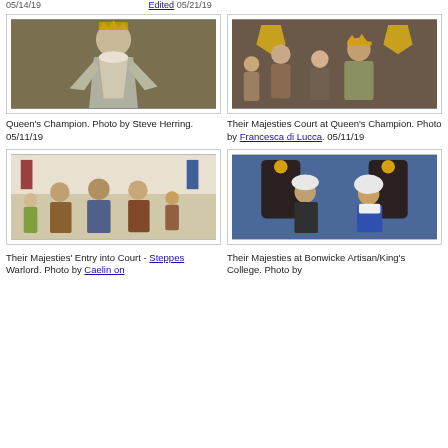05/14/19   [blue link] 05/21/19
[Figure (photo): Queen in elaborate medieval costume standing in front of a decorated throne area]
Queen's Champion. Photo by Steve Herring. 05/11/19
[Figure (photo): Group of people in medieval costumes at court, Their Majesties Court at Queen's Champion]
Their Majesties Court at Queen's Champion. Photo by Francesca di Lucca. 05/11/19
[Figure (photo): Group in medieval costumes, Their Majesties' Entry into Court - Steppes Warlord]
Their Majesties' Entry into Court - Steppes Warlord. Photo by Caelin on ...
[Figure (photo): Two people in medieval costumes seated on thrones at Bonwicke Artisan/King's College]
Their Majesties at Bonwicke Artisan/King's College. Photo by